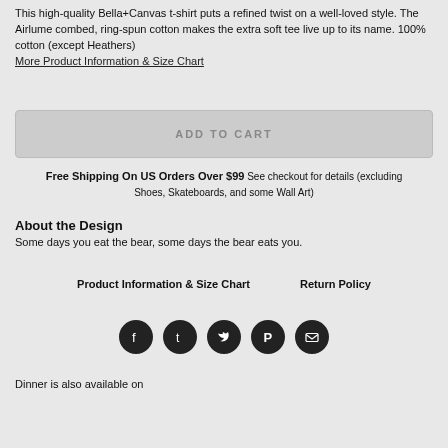This high-quality Bella+Canvas t-shirt puts a refined twist on a well-loved style. The Airlume combed, ring-spun cotton makes the extra soft tee live up to its name. 100% cotton (except Heathers) More Product Information & Size Chart
ADD TO CART
Free Shipping On US Orders Over $99 See checkout for details (excluding Shoes, Skateboards, and some Wall Art)
About the Design
Some days you eat the bear, some days the bear eats you.
Product Information & Size Chart   Return Policy
[Figure (infographic): Row of five social media icon circles: Facebook, Tumblr, Twitter, Pinterest, Email]
Dinner is also available on